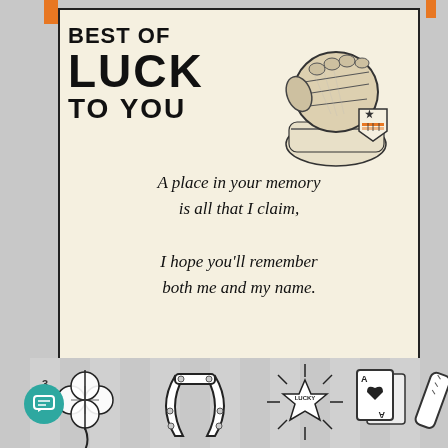BEST OF LUCK TO YOU
[Figure (illustration): Vintage illustration of a raised fist holding something with a patriotic shield badge (star and stripes) visible]
A place in your memory is all that I claim, I hope you'll remember both me and my name.
With___
Name___
Address___
COPYRIGHT 1942    EXHIBIT SUPPLY CO.    MADE IN U. S. A.
[Figure (illustration): Row of lucky symbols at bottom: four-leaf clover, horseshoe, lucky star with 'LUCKY' text, playing cards (ace), dice or cigar]